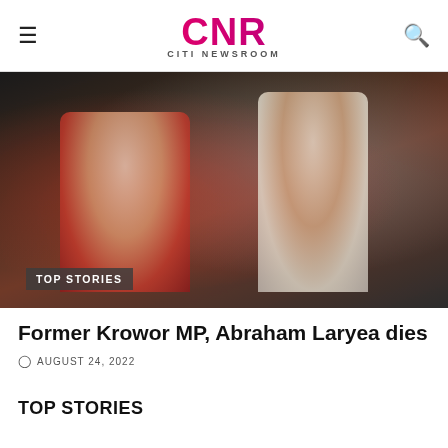CNR CITI NEWSROOM
[Figure (photo): Two people in an outdoor nighttime setting; one wearing a red outfit, the other in a white shirt. A 'TOP STORIES' badge overlays the bottom-left of the image.]
Former Krowor MP, Abraham Laryea dies
AUGUST 24, 2022
TOP STORIES